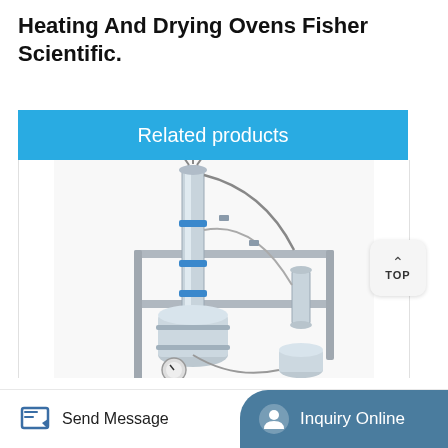Heating And Drying Ovens Fisher Scientific.
Related products
[Figure (photo): Laboratory equipment: a stainless steel distillation or reactor system mounted on a metal frame, featuring a tall cylindrical column, various valves, gauges, tubing and connected vessels.]
Send Message
Inquiry Online